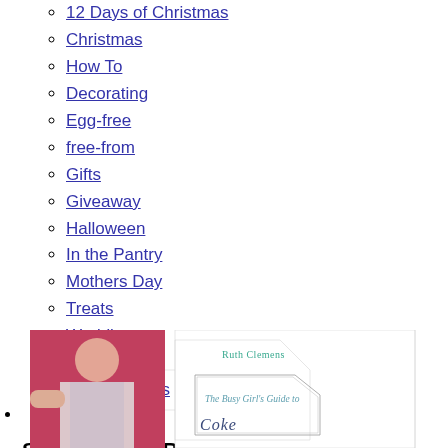12 Days of Christmas
Christmas
How To
Decorating
Egg-free
free-from
Gifts
Giveaway
Halloween
In the Pantry
Mothers Day
Treats
Wedding
Ruth's Chat
Baking Books
Signed Copy Books
[Figure (photo): Book cover of 'The Busy Girl's Guide to' by Ruth Clemens, shown with a photo of a woman baking]